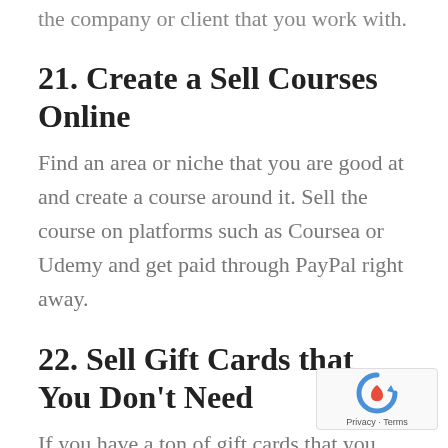the company or client that you work with.
21. Create a Sell Courses Online
Find an area or niche that you are good at and create a course around it. Sell the course on platforms such as Coursea or Udemy and get paid through PayPal right away.
22. Sell Gift Cards that You Don’t Need
If you have a ton of gift cards that you don’t use, you can convert them into PayPal cash right away. This may be a one-time opportunity, but it’s a good way to make some